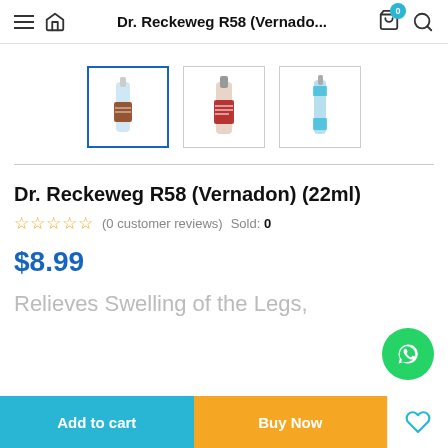Dr. Reckeweg R58 (Vernado...
[Figure (photo): Three product thumbnail images of Dr. Reckeweg R58 (Vernadon) 22ml bottle, showing front and side views. First thumbnail is selected (blue border).]
Dr. Reckeweg R58 (Vernadon) (22ml)
☆☆☆☆☆ (0 customer reviews)   Sold: 0
$8.99
Relieves Swelling of the Legs,
Add to cart   Buy Now